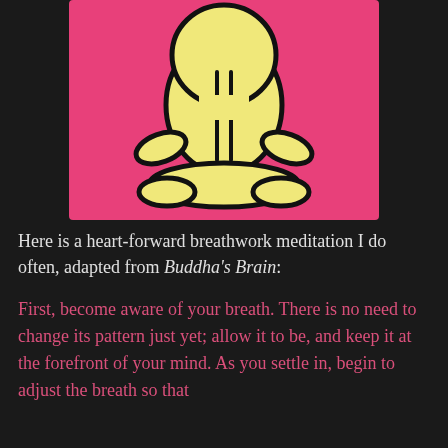[Figure (illustration): A stylized illustration of a person meditating in lotus position, drawn with thick black outlines on a pink/magenta background. The figure is yellow/cream colored, shown from behind, with rounded shapes suggesting a seated meditative posture.]
Here is a heart-forward breathwork meditation I do often, adapted from Buddha's Brain:
First, become aware of your breath. There is no need to change its pattern just yet; allow it to be, and keep it at the forefront of your mind. As you settle in, begin to adjust the breath so that